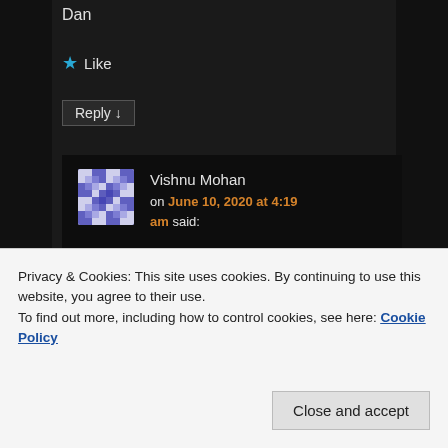Dan
★ Like
Reply ↓
Vishnu Mohan on June 10, 2020 at 4:19 am said:
Thank you, Dan. I just had one more quick query. What positional resolution along XY could you achieve using simple piezo.
Privacy & Cookies: This site uses cookies. By continuing to use this website, you agree to their use.
To find out more, including how to control cookies, see here: Cookie Policy
Close and accept